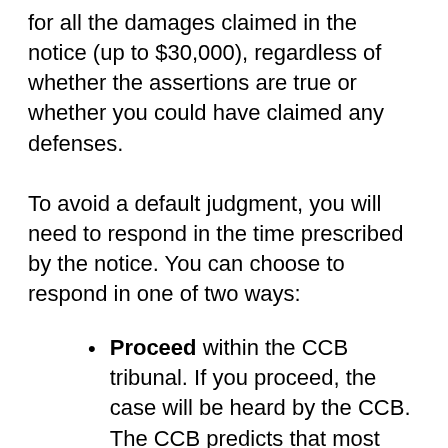for all the damages claimed in the notice (up to $30,000), regardless of whether the assertions are true or whether you could have claimed any defenses.
To avoid a default judgment, you will need to respond in the time prescribed by the notice. You can choose to respond in one of two ways:
Proceed within the CCB tribunal. If you proceed, the case will be heard by the CCB. The CCB predicts that most cases will be handled completely online, so you will not need to travel to Washington D.C. (where the U.S.